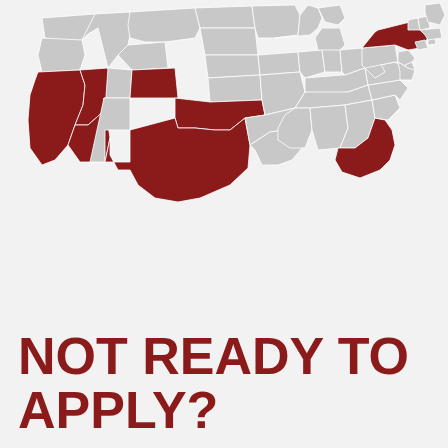[Figure (map): Map of the contiguous United States with selected states highlighted in dark red/crimson: California, Nevada, Arizona, Colorado, Oklahoma, Texas, New York, Florida. All other states are light gray.]
NOT READY TO APPLY?